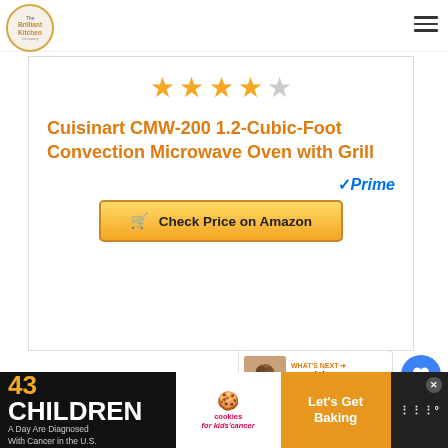Brilliant Kitchen — navigation header with logo and hamburger menu
[Figure (other): 4 out of 5 star rating shown as large orange/gold stars]
Cuisinart CMW-200 1.2-Cubic-Foot Convection Microwave Oven with Grill
[Figure (logo): Amazon Prime checkmark and Prime text badge]
Check Price on Amazon
[Figure (other): Blue circle heart button (save/wishlist)]
1
[Figure (other): Blue circle share button with share icon]
[Figure (other): What's Next callout showing Nostalgia Ice Cream Make... thumbnail and text]
[Figure (other): Cookie charity advertisement banner: 43 Children A Day Are Diagnosed With Cancer in the U.S. / cookies for kids cancer / Let's Get Baking]